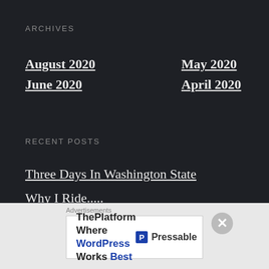ARCHIVES
August 2020
June 2020
May 2020
April 2020
RECENT POSTS
Three Days In Washington State
Why I Ride.....
Seattle to Palouse Falls : A weekend Road Trip
Exploring Gifford Pinchot National Forest
[Figure (screenshot): Advertisement banner: ThePlatform Where WordPress Works Best — Pressable logo]